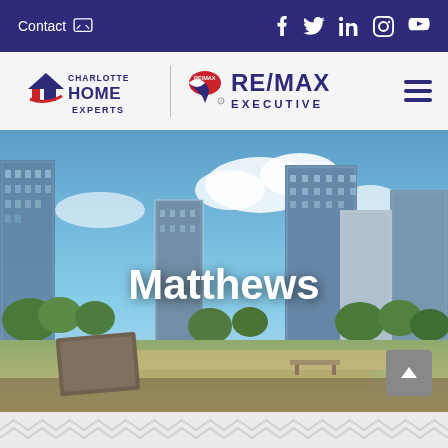Contact | Social media icons: Facebook, Twitter, LinkedIn, Instagram, YouTube
[Figure (logo): Charlotte Home Experts / RE/MAX Executive logo with hamburger menu icon]
[Figure (photo): Charlotte NC city skyline with skyscrapers and park in foreground, blue sky with clouds]
Matthews